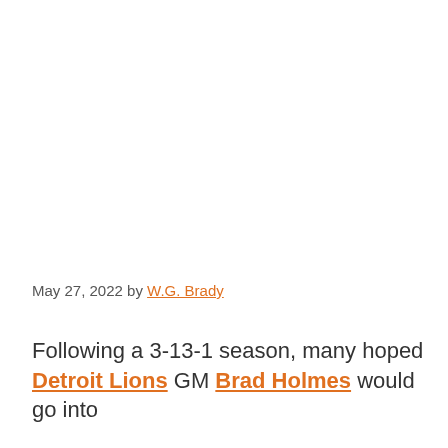May 27, 2022 by W.G. Brady
Following a 3-13-1 season, many hoped Detroit Lions GM Brad Holmes would go into